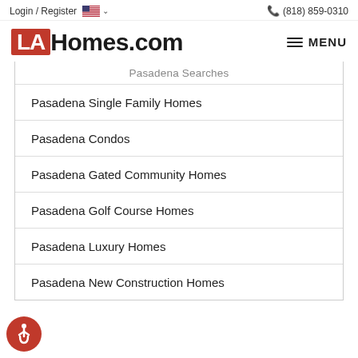Login / Register  (818) 859-0310
LAHomes.com
Pasadena Searches
Pasadena Single Family Homes
Pasadena Condos
Pasadena Gated Community Homes
Pasadena Golf Course Homes
Pasadena Luxury Homes
Pasadena New Construction Homes